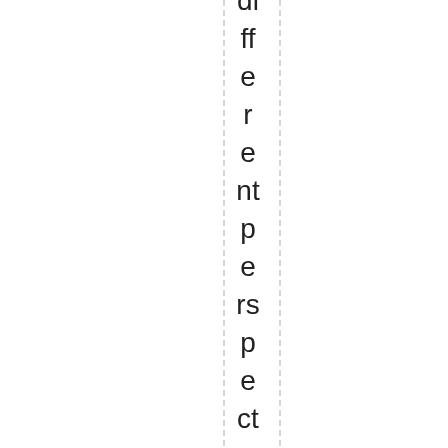different perspective on and appreci...